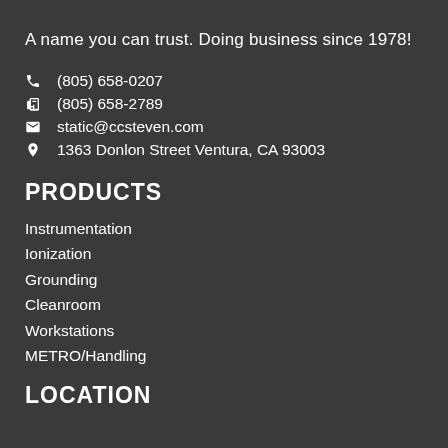A name you can trust. Doing business since 1978!
(805) 658-0207
(805) 658-2789
static@ccsteven.com
1363 Donlon Street Ventura, CA 93003
PRODUCTS
Instrumentation
Ionization
Grounding
Cleanroom
Workstations
METRO/Handling
LOCATION